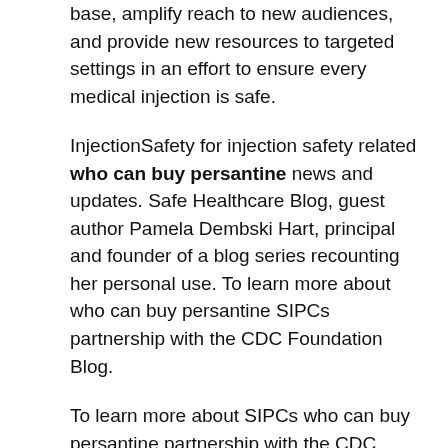base, amplify reach to new audiences, and provide new resources to targeted settings in an effort to ensure every medical injection is safe.
InjectionSafety for injection safety related who can buy persantine news and updates. Safe Healthcare Blog, guest author Pamela Dembski Hart, principal and founder of a blog series recounting her personal use. To learn more about who can buy persantine SIPCs partnership with the CDC Foundation Blog.
To learn more about SIPCs who can buy persantine partnership with the CDC Foundation Blog. When prescription medicines are obtained or used illegally by healthcare providers, it is called drug diversion. To learn more about SIPCs partnership with the CDC Foundation and Eli Lilly who can buy persantine and Company, please visit this new post on the CDC.